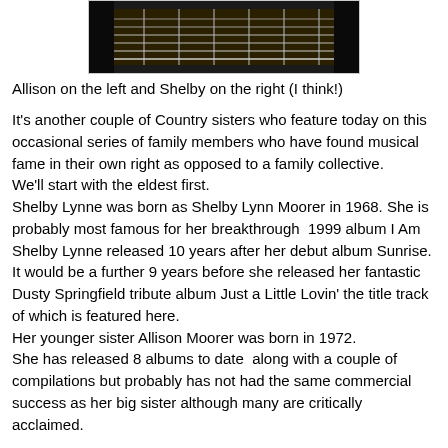[Figure (photo): Dark photo showing a guitar neck/fretboard with two people partially visible, dark background]
Allison on the left and Shelby on the right (I think!)
It's another couple of Country sisters who feature today on this occasional series of family members who have found musical fame in their own right as opposed to a family collective.
We'll start with the eldest first.
Shelby Lynne was born as Shelby Lynn Moorer in 1968. She is probably most famous for her breakthrough  1999 album I Am Shelby Lynne released 10 years after her debut album Sunrise.
It would be a further 9 years before she released her fantastic Dusty Springfield tribute album Just a Little Lovin' the title track of which is featured here.
Her younger sister Allison Moorer was born in 1972.
She has released 8 albums to date  along with a couple of compilations but probably has not had the same commercial success as her big sister although many are critically acclaimed.